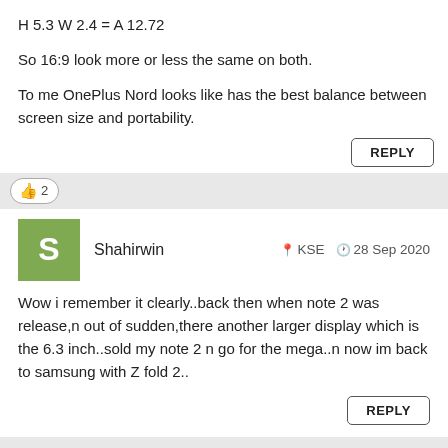H 5.3 W 2.4 = A 12.72
So 16:9 look more or less the same on both.
To me OnePlus Nord looks like has the best balance between screen size and portability.
REPLY
👍2
Shahirwin  📍KSE  🕐 28 Sep 2020
Wow i remember it clearly..back then when note 2 was release,n out of sudden,there another larger display which is the 6.3 inch..sold my note 2 n go for the mega..n now im back to samsung with Z fold 2..
REPLY